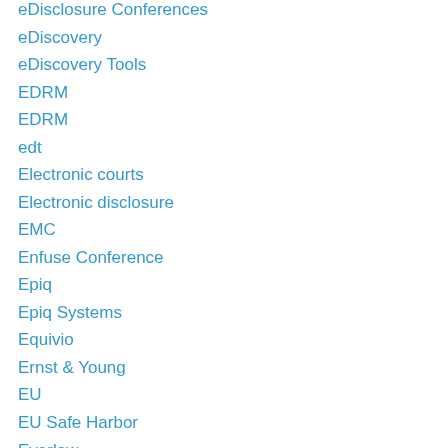eDisclosure Conferences
eDiscovery
eDiscovery Tools
EDRM
EDRM
edt
Electronic courts
Electronic disclosure
EMC
Enfuse Conference
Epiq
Epiq Systems
Equivio
Ernst & Young
EU
EU Safe Harbor
Everlaw
Evidence
Evolver
First Advantage